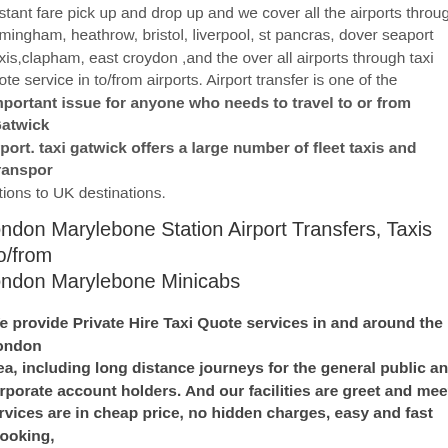nstant fare pick up and drop up and we cover all the airports through birmingham, heathrow, bristol, liverpool, st pancras, dover seaport axis,clapham, east croydon ,and the over all airports through taxi quote service in to/from airports. Airport transfer is one of the mportant issue for anyone who needs to travel to or from Gatwick airport. taxi gatwick offers a large number of fleet taxis and transport ptions to UK destinations.
London Marylebone Station Airport Transfers, Taxis to/from London Marylebone Minicabs
We provide Private Hire Taxi Quote services in and around the london area, including long distance journeys for the general public and corporate account holders. And our facilities are greet and meet services are in cheap price, no hidden charges, easy and fast booking, receive from all london crusies ports and airports, more over any train and tube stations in cities.
Our Taxis Fleet
We have a variety of vehicles to suit all needs, ranging from normal our seat saloon Taxi's, 6 seaters, 8 seaters, 9 seaters, wheelchair